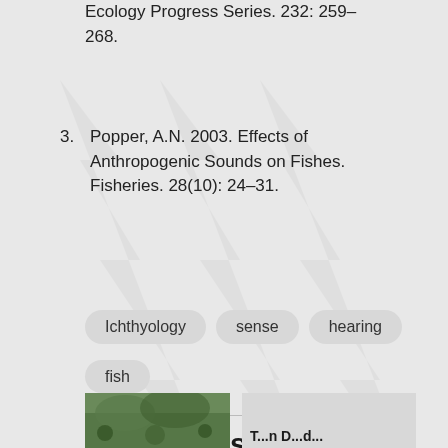Ecology Progress Series. 232: 259-268.
3. Popper, A.N. 2003. Effects of Anthropogenic Sounds on Fishes. Fisheries. 28(10): 24-31.
Ichthyology  sense  hearing  fish
Also in this section
[Figure (photo): Thumbnail image of aquatic/nature scene, green tones]